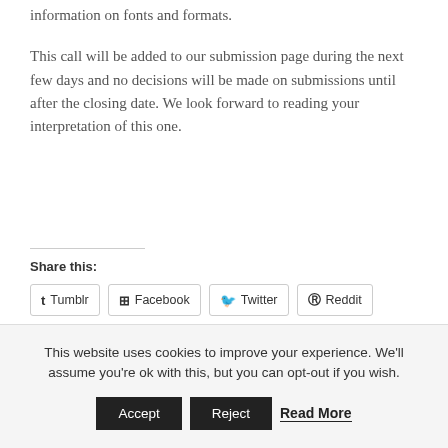information on fonts and formats.
This call will be added to our submission page during the next few days and no decisions will be made on submissions until after the closing date. We look forward to reading your interpretation of this one.
Share this:
Tumblr  Facebook  Twitter  Reddit
This website uses cookies to improve your experience. We'll assume you're ok with this, but you can opt-out if you wish.
Accept  Reject  Read More